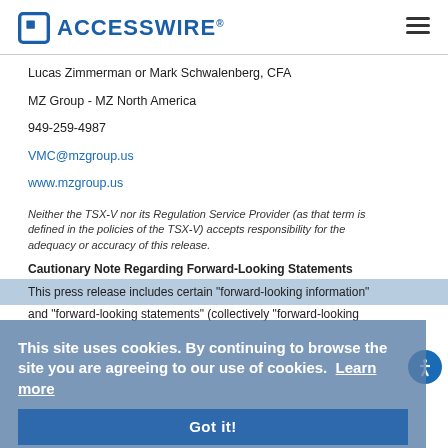[Figure (logo): ACCESSWIRE logo with blue square icon and hamburger menu icon on the right]
Lucas Zimmerman or Mark Schwalenberg, CFA
MZ Group - MZ North America
949-259-4987
VMC@mzgroup.us
www.mzgroup.us
Neither the TSX-V nor its Regulation Service Provider (as that term is defined in the policies of the TSX-V) accepts responsibility for the adequacy or accuracy of this release.
Cautionary Note Regarding Forward-Looking Statements
This press release includes certain "forward-looking information" and "forward-looking statements" (collectively "forward-looking
This site uses cookies. By continuing to browse the site you are agreeing to our use of cookies.  Learn more
Got it!